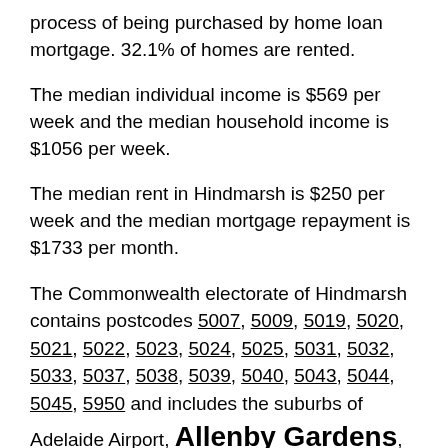process of being purchased by home loan mortgage. 32.1% of homes are rented.
The median individual income is $569 per week and the median household income is $1056 per week.
The median rent in Hindmarsh is $250 per week and the median mortgage repayment is $1733 per month.
The Commonwealth electorate of Hindmarsh contains postcodes 5007, 5009, 5019, 5020, 5021, 5022, 5023, 5024, 5025, 5031, 5032, 5033, 5037, 5038, 5039, 5040, 5043, 5044, 5045, 5950 and includes the suburbs of Adelaide Airport, Allenby Gardens, Ascot Park, Brooklyn Park, Camden Park, Cowandilla, Edwardstown, Flinders Park, Fulham, Fulham Gardens, Glandore, Glenelg, Glenelg